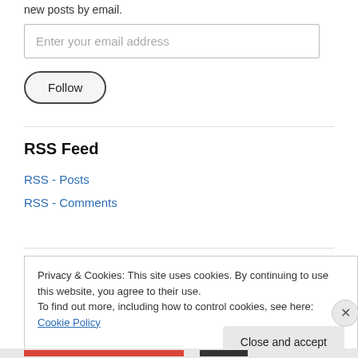new posts by email.
Enter your email address
Follow
RSS Feed
RSS - Posts
RSS - Comments
Privacy & Cookies: This site uses cookies. By continuing to use this website, you agree to their use. To find out more, including how to control cookies, see here: Cookie Policy
Close and accept